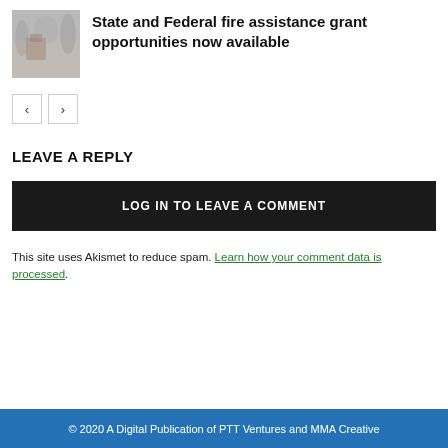[Figure (photo): Thumbnail photo showing a foggy outdoor scene with trees and a house in the background.]
State and Federal fire assistance grant opportunities now available
< >
LEAVE A REPLY
LOG IN TO LEAVE A COMMENT
This site uses Akismet to reduce spam. Learn how your comment data is processed.
© 2020 A Digital Publication of PTT Ventures and MMA Creative